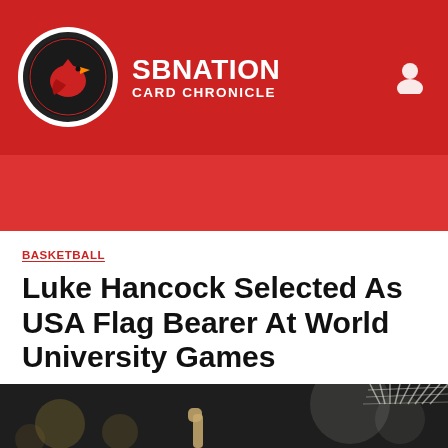SBNation - Card Chronicle
BASKETBALL
Luke Hancock Selected As USA Flag Bearer At World University Games
By Mike Rutherford | @CardChronicle | Jul 4, 2013, 11:42am EDT
SHARE
[Figure (photo): Dark arena photo showing a player pointing finger upward with a basketball net visible in background]